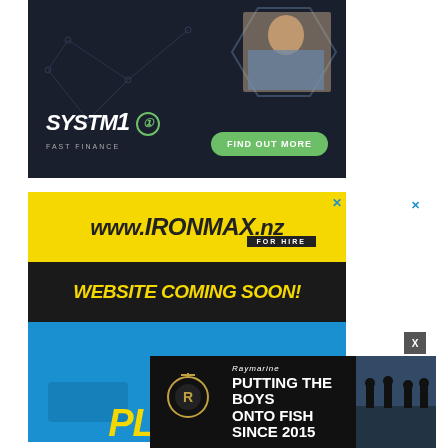[Figure (photo): SYSTM1 Fast Finance advertisement banner. Dark navy background with geometric network lines. Hexagonal cutout showing a woman in a truck cab. Logo reads 'SYSTM1' with circle-1 symbol and tagline 'FAST FINANCE'. Green rounded button says 'FIND OUT MORE'.]
[Figure (photo): IRONMAX.nz for hire advertisement. Yellow top section with 'www.IRONMAX.nz FOR HIRE' logo. Black middle band with yellow bold italic text 'WEBSITE COMING SOON!'. Blue lower section with partially visible yellow bold italic text 'PLANT &' at bottom. Blue X close button top right.]
[Figure (photo): Raymarine advertisement banner at bottom. Dark background with Raymarine logo/emblem on left, white text 'Raymarine' italic and bold headline 'PUTTING THE BOYS ONTO FISH SINCE 2015', fishing photo on right.]